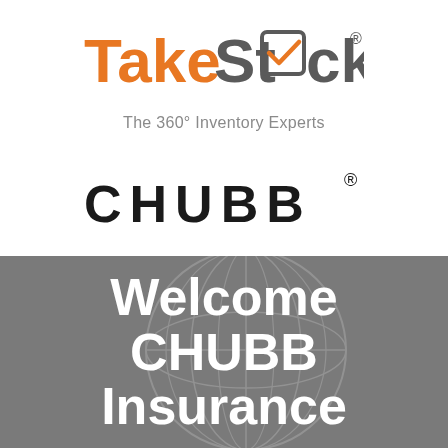[Figure (logo): TakeStock logo with orange and gray text and a checkmark icon inside the 'o' of Stock, with registered trademark symbol]
The 360° Inventory Experts
[Figure (logo): CHUBB logo in large bold black uppercase letters with registered trademark symbol]
Welcome
CHUBB
Insurance